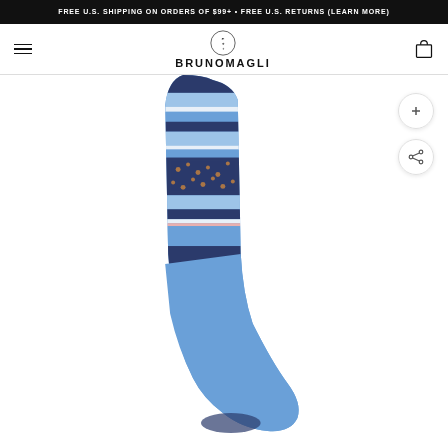FREE U.S. SHIPPING ON ORDERS OF $99+ • FREE U.S. RETURNS (LEARN MORE)
[Figure (logo): Bruno Magli brand logo with crest above the brand name BRUNOMAGLI]
[Figure (photo): Blue striped dress sock with paisley pattern band, standing upright against white background]